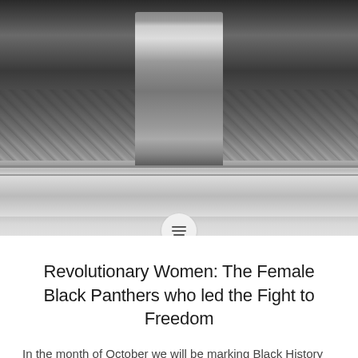[Figure (photo): Black and white photograph of a person standing and speaking at what appears to be a meeting or event. A decorative tablecloth is visible in the background, along with other people seated behind a table. Shelves or cabinets are visible at the bottom.]
Revolutionary Women: The Female Black Panthers who led the Fight to Freedom
In the month of October we will be marking Black History